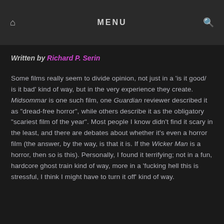MENU
Written by Richard P. Serin
Some films really seem to divide opinion, not just in a 'is it good/ is it bad' kind of way, but in the very experience they create. Midsommar is one such film, one Guardian reviewer described it as “dread-free horror”, while others describe it as the obligatory “scariest film of the year”. Most people I know didn’t find it scary in the least, and there are debates about whether it’s even a horror film (the answer, by the way, is that it is. If the Wicker Man is a horror, then so is this). Personally, I found it terrifying; not in a fun, hardcore ghost train kind of way, more in a ‘fucking hell this is stressful, I think I might have to turn it off’ kind of way.